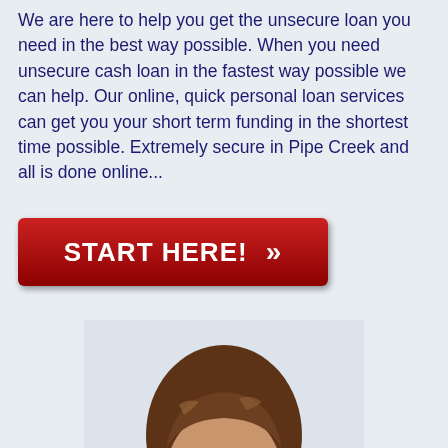We are here to help you get the unsecure loan you need in the best way possible. When you need unsecure cash loan in the fastest way possible we can help. Our online, quick personal loan services can get you your short term funding in the shortest time possible. Extremely secure in Pipe Creek and all is done online...
[Figure (other): Red button with white text reading 'START HERE!' and double chevron arrows pointing right]
[Figure (photo): Photo of a smiling young woman with long brown wavy hair against a light background]